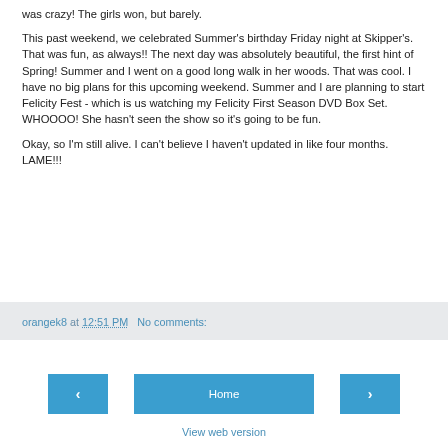was crazy! The girls won, but barely.
This past weekend, we celebrated Summer's birthday Friday night at Skipper's. That was fun, as always!! The next day was absolutely beautiful, the first hint of Spring! Summer and I went on a good long walk in her woods. That was cool. I have no big plans for this upcoming weekend. Summer and I are planning to start Felicity Fest - which is us watching my Felicity First Season DVD Box Set. WHOOOO! She hasn't seen the show so it's going to be fun.
Okay, so I'm still alive. I can't believe I haven't updated in like four months. LAME!!!
orangek8 at 12:51 PM   No comments:
Home
View web version